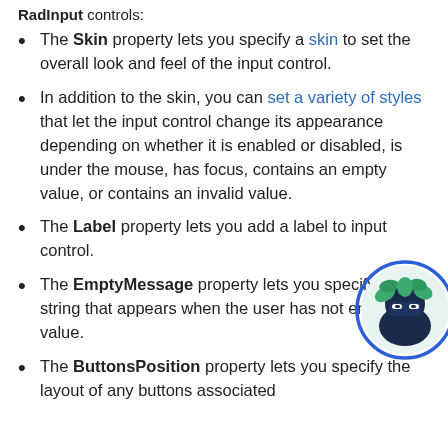RadInput controls.
The Skin property lets you specify a skin to set the overall look and feel of the input control.
In addition to the skin, you can set a variety of styles that let the input control change its appearance depending on whether it is enabled or disabled, is under the mouse, has focus, contains an empty value, or contains an invalid value.
The Label property lets you add a label to input control.
[Figure (illustration): Ninja mascot icon in a blue circle, partially visible at right edge of page]
The EmptyMessage property lets you specify a string that appears when the user has not entered a value.
The ButtonsPosition property lets you specify the layout of any buttons associated